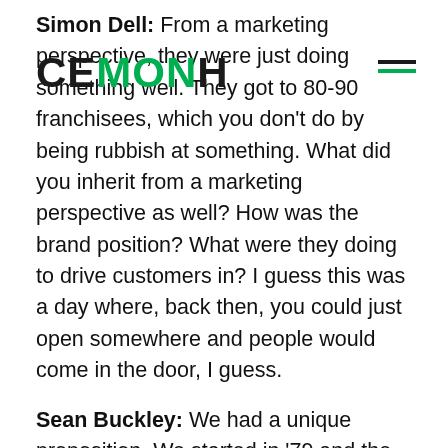Simon Dell: From a marketing perspective, they were just doing something well. They got to 80-90 franchisees, which you don't do by being rubbish at something. What did you inherit from a marketing perspective as well? How was the brand position? What were they doing to drive customers in? I guess this was a day where, back then, you could just open somewhere and people would come in the door, I guess.
[Figure (logo): CEMOH logo — bold text with green accent letters and hamburger menu icon]
Sean Buckley: We had a unique proposition. We started in '79 and the big kick that got the stores — and this is 40th year this year. The big thing in the early-80s, in late-80s, was a thing called dyno tuning. And all the marketing related to dyno tuning in the car, which is a car getting on four wheels, spinning wheels, driving the shit out of it, revving the car up,